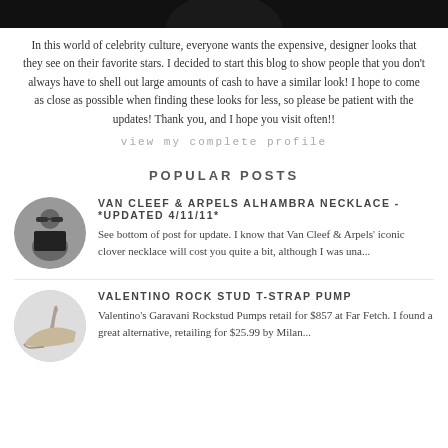[Figure (photo): Partial top of a circular profile photo, dark/black tones, cropped at top of page]
In this world of celebrity culture, everyone wants the expensive, designer looks that they see on their favorite stars. I decided to start this blog to show people that you don't always have to shell out large amounts of cash to have a similar look! I hope to come as close as possible when finding these looks for less, so please be patient with the updates! Thank you, and I hope you visit often!!
view my complete profile
POPULAR POSTS
[Figure (photo): Circular thumbnail of a woman wearing sunglasses and dark top, street style photo]
VAN CLEEF & ARPELS ALHAMBRA NECKLACE - *UPDATED 4/11/11*
See bottom of post for update. I know that Van Cleef & Arpels' iconic clover necklace will cost you quite a bit, although I was una...
[Figure (photo): Circular thumbnail of a shoe - appears to be a strappy heeled sandal]
VALENTINO ROCK STUD T-STRAP PUMP
Valentino's Garavani Rockstud Pumps retail for $857 at Far Fetch. I found a great alternative, retailing for $25.99 by Milan...